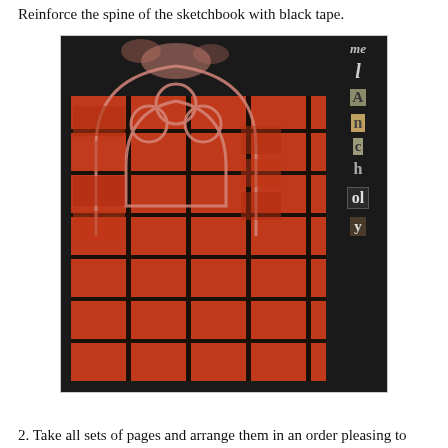Reinforce the spine of the sketchbook with black tape.
[Figure (photo): A sketchbook cover with a dark gothic/medieval aesthetic. The cover features a large Gothic arch window design printed in red/terracotta tones on a black background, resembling a brick archway. On the right spine area, the word 'melAncholy' is spelled out in a collage of mixed letter styles and textures on small label-like patches.]
2. Take all sets of pages and arrange them in an order pleasing to